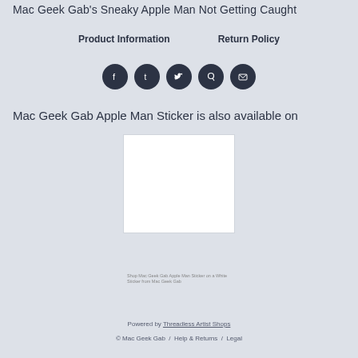Mac Geek Gab's Sneaky Apple Man Not Getting Caught
Product Information    Return Policy
[Figure (other): Social media share icons: Facebook, Tumblr, Twitter, Pinterest, Email — dark circular buttons]
Mac Geek Gab Apple Man Sticker is also available on
[Figure (photo): Product thumbnail: Shop Mac Geek Gab Apple Man Sticker on a White Sticker from Mac Geek Gab — white square product image placeholder]
Powered by Threadless Artist Shops
© Mac Geek Gab / Help & Returns / Legal